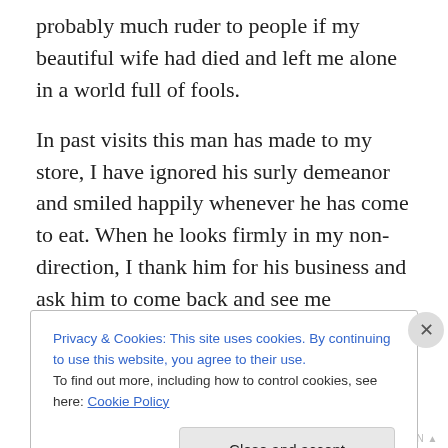probably much ruder to people if my beautiful wife had died and left me alone in a world full of fools.
In past visits this man has made to my store, I have ignored his surly demeanor and smiled happily whenever he has come to eat. When he looks firmly in my non-direction, I thank him for his business and ask him to come back and see me sometime. When he refuses to acknowledge my service, (or my presence) I smile and tell him to have a wondrous day. My efforts have not been in vain, because although his face has not once twisted in
Privacy & Cookies: This site uses cookies. By continuing to use this website, you agree to their use.
To find out more, including how to control cookies, see here: Cookie Policy
Close and accept